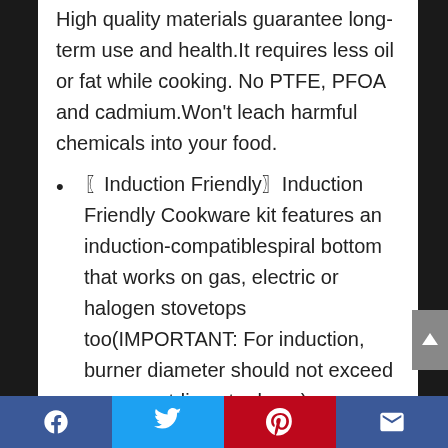High quality materials guarantee long-term use and health.It requires less oil or fat while cooking. No PTFE, PFOA and cadmium.Won't leach harmful chemicals into your food.
〖Induction Friendly〗Induction Friendly Cookware kit features an induction-compatiblespiral bottom that works on gas, electric or halogen stovetops too(IMPORTANT: For induction, burner diameter should not exceed pan or potdiameter base).
〖Dishwasher and Oven Safe〗Sturdy
[Facebook] [Twitter] [Pinterest] [Email]